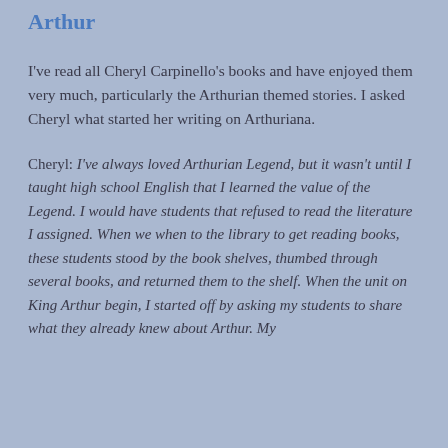Arthur
I've read all Cheryl Carpinello's books and have enjoyed them very much, particularly the Arthurian themed stories. I asked Cheryl what started her writing on Arthuriana.
Cheryl: I've always loved Arthurian Legend, but it wasn't until I taught high school English that I learned the value of the Legend. I would have students that refused to read the literature I assigned. When we when to the library to get reading books, these students stood by the book shelves, thumbed through several books, and returned them to the shelf. When the unit on King Arthur begin, I started off by asking my students to share what they already knew about Arthur. My